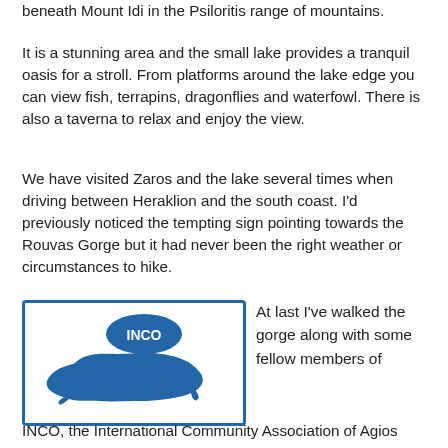beneath Mount Idi in the Psiloritis range of mountains.
It is a stunning area and the small lake provides a tranquil oasis for a stroll. From platforms around the lake edge you can view fish, terrapins, dragonflies and waterfowl. There is also a taverna to relax and enjoy the view.
We have visited Zaros and the lake several times when driving between Heraklion and the south coast. I'd previously noticed the tempting sign pointing towards the Rouvas Gorge but it had never been the right weather or circumstances to hike.
[Figure (logo): INCO logo with blue map of Crete island and blue oval with text INCO, inside a blue border rectangle]
At last I've walked the gorge along with some fellow members of
INCO, the International Community Association of Agios